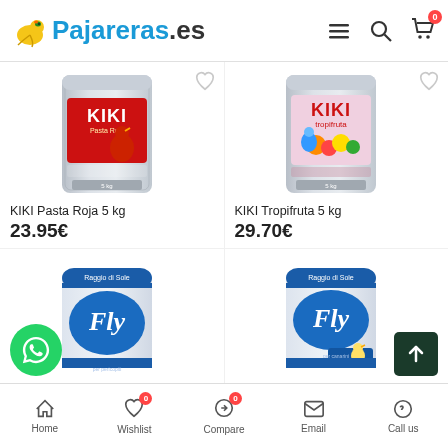Pajareras.es
[Figure (photo): KIKI Pasta Roja 5 kg product bag - silver metallic bag with red KIKI branding and parrot image]
KIKI Pasta Roja 5 kg
23.95€
[Figure (photo): KIKI Tropifruta 5 kg product bag - silver metallic bag with pink KIKI Tropifruta branding and budgerigar image]
KIKI Tropifruta 5 kg
29.70€
[Figure (photo): Raggio di Sole Fly bird food bag - white and blue bag with Fly branding]
[Figure (photo): Raggio di Sole Fly bird food bag - white and blue bag with Fly branding and canary image]
Home | Wishlist | Compare | Email | Call us